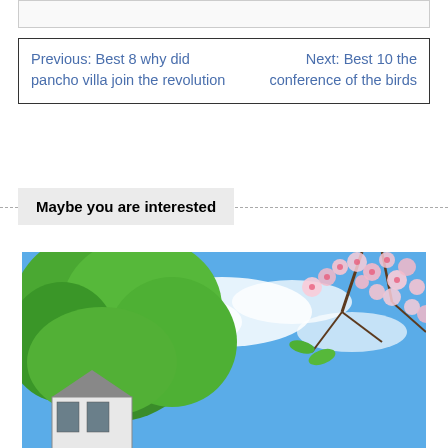Previous: Best 8 why did pancho villa join the revolution
Next: Best 10 the conference of the birds
Maybe you are interested
[Figure (photo): Outdoor photo showing a house partially visible at the bottom left, large green leafy trees in the center-left, a bright blue sky with white clouds, and flowering cherry blossom branches in the upper right.]